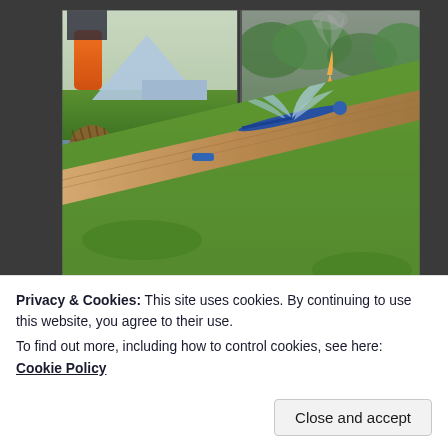[Figure (photo): Collage of three outdoor/nature photos: top-left shows a person in orange gloves lifting a wicker/mesh basket near a pond with a tent visible in background; top-right shows a burning pile of material on or near water with smoke and flame visible, trees in background; bottom shows a dragonfly resting on a wooden canoe paddle/gunwale with a green pond surface in background.]
Privacy & Cookies: This site uses cookies. By continuing to use this website, you agree to their use.
To find out more, including how to control cookies, see here: Cookie Policy
Close and accept